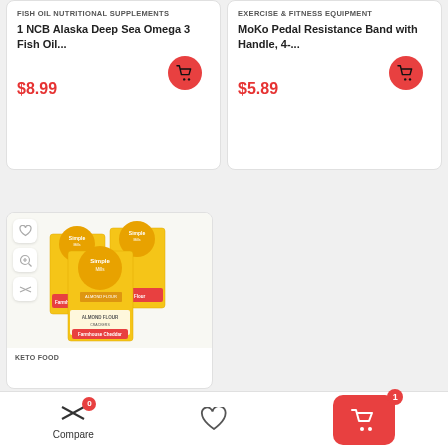FISH OIL NUTRITIONAL SUPPLEMENTS
1 NCB Alaska Deep Sea Omega 3 Fish Oil...
$8.99
EXERCISE & FITNESS EQUIPMENT
MoKo Pedal Resistance Band with Handle, 4-...
$5.89
[Figure (photo): Simple Mills Almond Flour crackers - Farmhouse Cheddar, three boxes displayed]
KETO FOOD
Compare
0
1